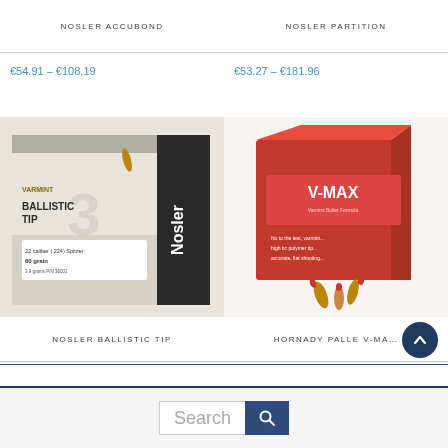NOSLER ACCUBOND
NOSLER PARTITION
€54.91 - €108.19
€53.27 - €181.96
[Figure (photo): Box of Nosler Ballistic Tip Varmint 22 caliber (.224) 60 grain bullets]
[Figure (photo): Red box of Hornady V-MAX bullets with loose bullets in front]
NOSLER BALLISTIC TIP
HORNADY PALLE V-MA...
Search